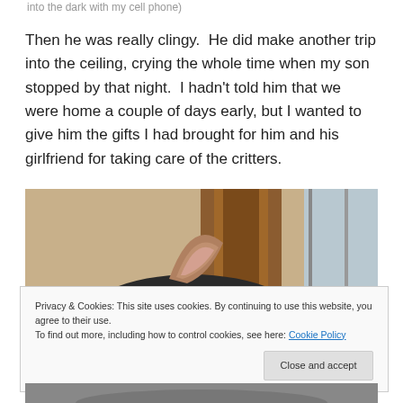into the dark with my cell phone)
Then he was really clingy.  He did make another trip into the ceiling, crying the whole time when my son stopped by that night.  I hadn't told him that we were home a couple of days early, but I wanted to give him the gifts I had brought for him and his girlfriend for taking care of the critters.
[Figure (photo): Close-up photograph of a cat's ear, with wood door frame and window visible in the background.]
Privacy & Cookies: This site uses cookies. By continuing to use this website, you agree to their use.
To find out more, including how to control cookies, see here: Cookie Policy
Close and accept